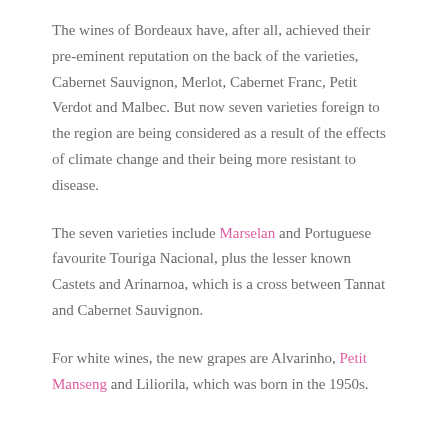The wines of Bordeaux have, after all, achieved their pre-eminent reputation on the back of the varieties, Cabernet Sauvignon, Merlot, Cabernet Franc, Petit Verdot and Malbec. But now seven varieties foreign to the region are being considered as a result of the effects of climate change and their being more resistant to disease.
The seven varieties include Marselan and Portuguese favourite Touriga Nacional, plus the lesser known Castets and Arinarnoa, which is a cross between Tannat and Cabernet Sauvignon.
For white wines, the new grapes are Alvarinho, Petit Manseng and Liliorila, which was born in the 1950s.